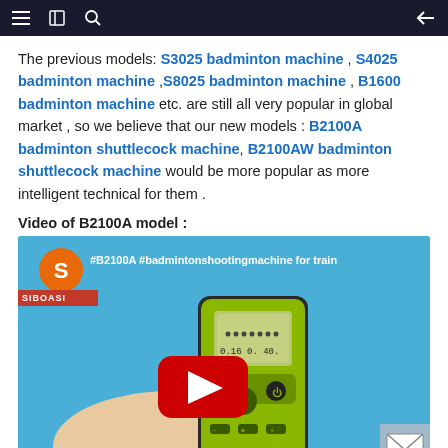Navigation bar with menu, library, search, and back icons
The previous models: S3025 badminton machine , S4025 badminton machine ,S8025 badminton machine , B1600 badminton machine etc. are still all very popular in global market , so we believe that our new models : B2100A badminton shuttlecock machine, B2100AW badminton shuttlecock machine would be more popular as more intelligent technical for them .
Video of B2100A model :
[Figure (screenshot): YouTube video thumbnail showing a hand holding a yellow/green badminton machine remote control with LCD display, with a YouTube play button overlay. Channel icon shows 'S' for SIBOASI. Video title: #B2100A #badmintonshootingmachine for training]